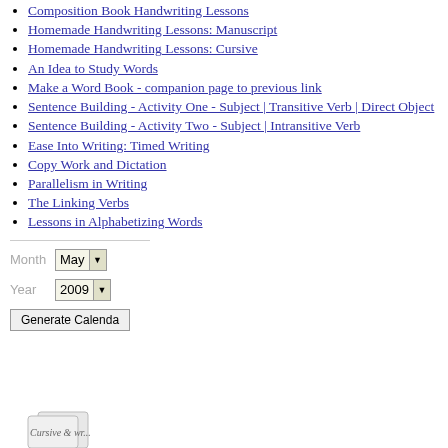Composition Book Handwriting Lessons
Homemade Handwriting Lessons: Manuscript
Homemade Handwriting Lessons: Cursive
An Idea to Study Words
Make a Word Book - companion page to previous link
Sentence Building - Activity One - Subject | Transitive Verb | Direct Object
Sentence Building - Activity Two - Subject | Intransitive Verb
Ease Into Writing: Timed Writing
Copy Work and Dictation
Parallelism in Writing
The Linking Verbs
Lessons in Alphabetizing Words
Month: May (dropdown), Year: 2009 (dropdown), Generate Calendar button
[Figure (illustration): Partial illustration at bottom left, appears to be a decorative graphic or logo]